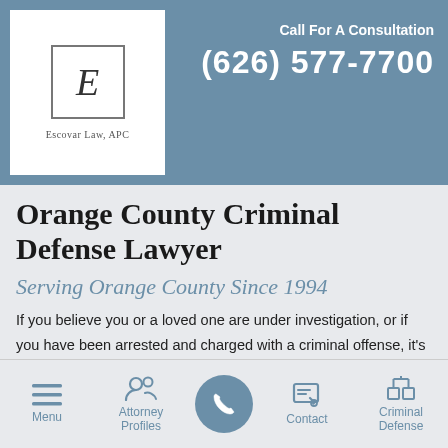[Figure (logo): Escovar Law, APC logo — white box with letter E in a bordered square and firm name below]
Call For A Consultation
(626) 577-7700
Orange County Criminal Defense Lawyer
Serving Orange County Since 1994
If you believe you or a loved one are under investigation, or if you have been arrested and charged with a criminal offense, it's important that you engage an experienced and reputable Orange County criminal defense lawyer from Escovar Law, APC. Our partners have been practicing criminal defense since
Menu | Attorney Profiles | [phone] | Contact | Criminal Defense